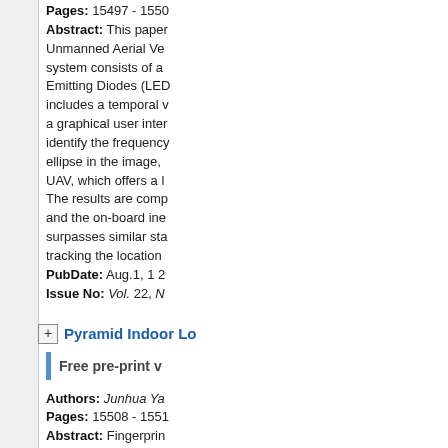Pages: 15497 - 1550
Abstract: This paper... Unmanned Aerial Ve... system consists of a... Emitting Diodes (LED... includes a temporal v... a graphical user inter... identify the frequency... ellipse in the image,... UAV, which offers a l... The results are comp... and the on-board ine... surpasses similar sta... tracking the location...
PubDate: Aug.1, 1 2
Issue No: Vol. 22, N
Pyramid Indoor Lo
Free pre-print v
Authors: Junhua Ya
Pages: 15508 - 1551
Abstract: Fingerprin... unconstrained positio... and smart device. Ho... localization task is di... knowledge, the locali... leads to low efficienc... this paper, where use... difference measurem...